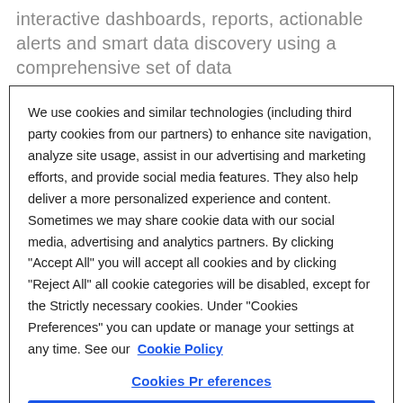interactive dashboards, reports, actionable alerts and smart data discovery using a comprehensive set of data
We use cookies and similar technologies (including third party cookies from our partners) to enhance site navigation, analyze site usage, assist in our advertising and marketing efforts, and provide social media features. They also help deliver a more personalized experience and content. Sometimes we may share cookie data with our social media, advertising and analytics partners. By clicking "Accept All" you will accept all cookies and by clicking "Reject All" all cookie categories will be disabled, except for the Strictly necessary cookies. Under "Cookies Preferences" you can update or manage your settings at any time. See our  Cookie Policy
Cookies Preferences
Reject All